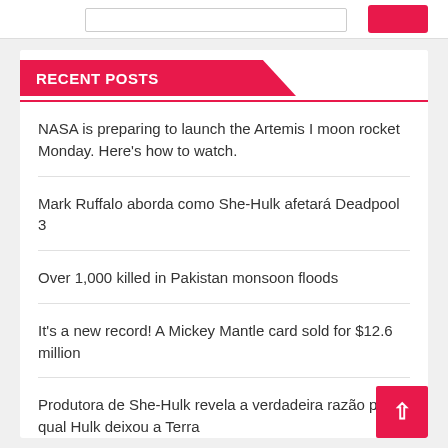RECENT POSTS
NASA is preparing to launch the Artemis I moon rocket Monday. Here’s how to watch.
Mark Ruffalo aborda como She-Hulk afetará Deadpool 3
Over 1,000 killed in Pakistan monsoon floods
It’s a new record! A Mickey Mantle card sold for $12.6 million
Produtora de She-Hulk revela a verdadeira razão pela qual Hulk deixou a Terra